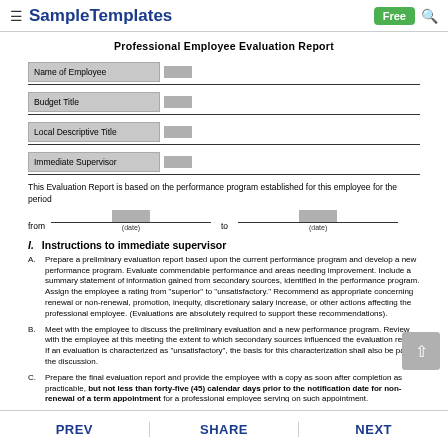SampleTemplates  Free
Professional Employee Evaluation Report
| Name of Employee |  |  |
| Budget Title |  |  |
| Local Descriptive Title |  |  |
| Immediate Supervisor |  |  |
This Evaluation Report is based on the performance program established for this employee for the period
from (date) to (date)
I. Instructions to immediate supervisor
A. Prepare a preliminary evaluation report based upon the current performance program and develop a new performance program. Evaluate commendable performance and areas needing improvement. Include a summary statement of information gained from secondary sources, identified in the performance program. Assign the employee a rating from "superior" to "unsatisfactory." Recommend as appropriate concerning renewal or non-renewal, promotion, inequity, discretionary salary increase, or other actions affecting the professional employee. (Evaluations are absolutely required to support these recommendations).
B. Meet with the employee to discuss the preliminary evaluation and a new performance program. Review with the employee at this meeting the extent to which secondary sources influenced the evaluation report. If an evaluation is characterized as "unsatisfactory", the basis for this characterization shall also be part of the discussion.
C. Prepare the final evaluation report and provide the employee with a copy as soon after completion as practicable, but not less than forty-five (45) calendar days prior to the notification date for non-renewal of a term appointment for a professional employee serving on such appointment.
II. Final Evaluation Report
PREV  SHARE  NEXT